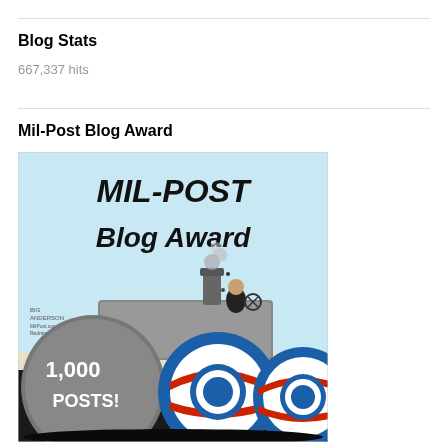Blog Stats
667,337 hits
Mil-Post Blog Award
[Figure (illustration): Mil-Post Blog Award cartoon illustration showing a steam roller with Obama logo wheels labeled '1,000 Posts!' with the text 'MIL-POST Blog Award' at the top on a light blue background.]